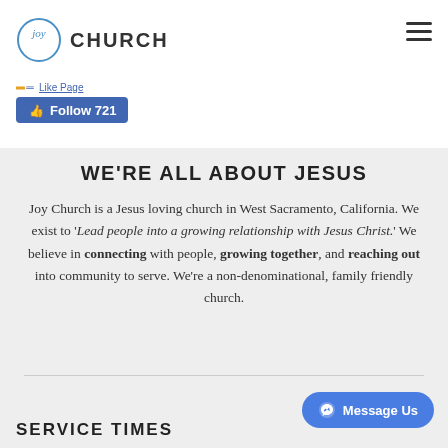JOY CHURCH
[Figure (logo): Joy Church logo with circular 'joy' script inside a circle and 'CHURCH' in bold caps]
Follow 721
WE'RE ALL ABOUT JESUS
Joy Church is a Jesus loving church in West Sacramento, California. We exist to 'Lead people into a growing relationship with Jesus Christ.' We believe in connecting with people, growing together, and reaching out into community to serve. We're a non-denominational, family friendly church.
SERVICE TIMES